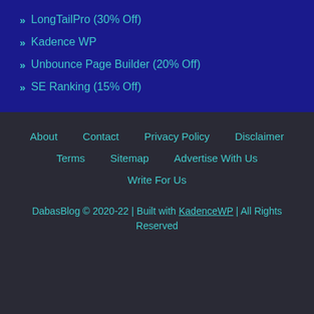LongTailPro (30% Off)
Kadence WP
Unbounce Page Builder (20% Off)
SE Ranking (15% Off)
About  Contact  Privacy Policy  Disclaimer  Terms  Sitemap  Advertise With Us  Write For Us
DabasBlog © 2020-22 | Built with KadenceWP | All Rights Reserved